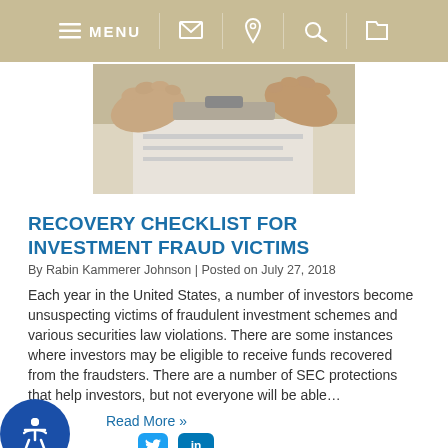MENU [phone] [email] [location] [search]
[Figure (photo): Two hands holding a clipboard with paper, close-up view from above]
RECOVERY CHECKLIST FOR INVESTMENT FRAUD VICTIMS
By Rabin Kammerer Johnson | Posted on July 27, 2018
Each year in the United States, a number of investors become unsuspecting victims of fraudulent investment schemes and various securities law violations. There are some instances where investors may be eligible to receive funds recovered from the fraudsters. There are a number of SEC protections that help investors, but not everyone will be able…
Read More »
WHEN WILL A MEMBER OR SHAREHOLDER BE